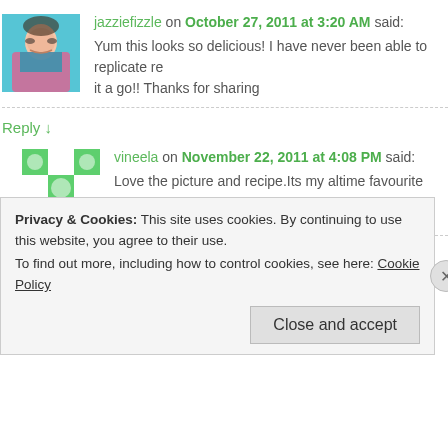[Figure (photo): Avatar photo of jazziefizzle - woman with sunglasses in colorful top]
jazziefizzle on October 27, 2011 at 3:20 AM said:
Yum this looks so delicious! I have never been able to replicate re... it a go!! Thanks for sharing
Reply ↓
[Figure (illustration): Green decorative avatar pattern for vineela]
vineela on November 22, 2011 at 4:08 PM said:
Love the picture and recipe.Its my altime favourite
Reply ↓
[Figure (illustration): Teal decorative avatar pattern for Trin]
Trin on November 30, 2011 at 2:05 AM said:
Privacy & Cookies: This site uses cookies. By continuing to use this website, you agree to their use.
To find out more, including how to control cookies, see here: Cookie Policy
Close and accept